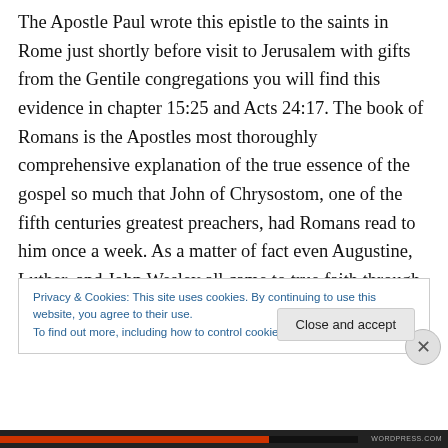The Apostle Paul wrote this epistle to the saints in Rome just shortly before visit to Jerusalem with gifts from the Gentile congregations you will find this evidence in chapter 15:25 and Acts 24:17. The book of Romans is the Apostles most thoroughly comprehensive explanation of the true essence of the gospel so much that John of Chrysostom, one of the fifth centuries greatest preachers, had Romans read to him once a week. As a matter of fact even Augustine, Luther, and John Wesley all came to true faith through the major impact of this epistle. The Reformers themselves had viewed Romans as a God given key to
Privacy & Cookies: This site uses cookies. By continuing to use this website, you agree to their use.
To find out more, including how to control cookies, see here: Cookie Policy